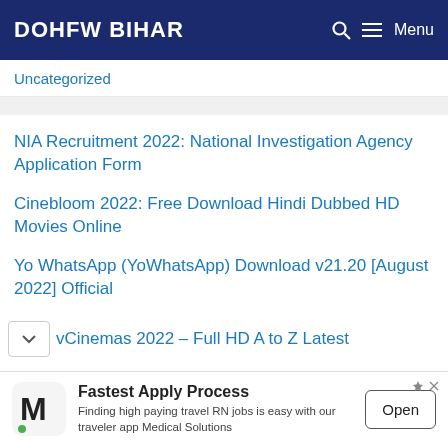DOHFW BIHAR
Uncategorized
NIA Recruitment 2022: National Investigation Agency Application Form
Cinebloom 2022: Free Download Hindi Dubbed HD Movies Online
Yo WhatsApp (YoWhatsApp) Download v21.20 [August 2022] Official
vCinemas 2022 – Full HD A to Z Latest
[Figure (infographic): Advertisement banner: M logo (Medical Solutions), 'Fastest Apply Process' headline, 'Finding high paying travel RN jobs is easy with our traveler app Medical Solutions', Open button]